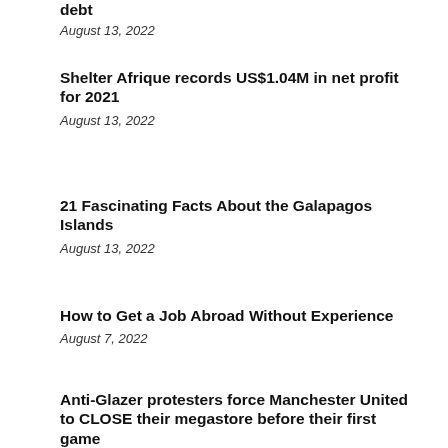debt
August 13, 2022
Shelter Afrique records US$1.04M in net profit for 2021
August 13, 2022
21 Fascinating Facts About the Galapagos Islands
August 13, 2022
How to Get a Job Abroad Without Experience
August 7, 2022
Anti-Glazer protesters force Manchester United to CLOSE their megastore before their first game…